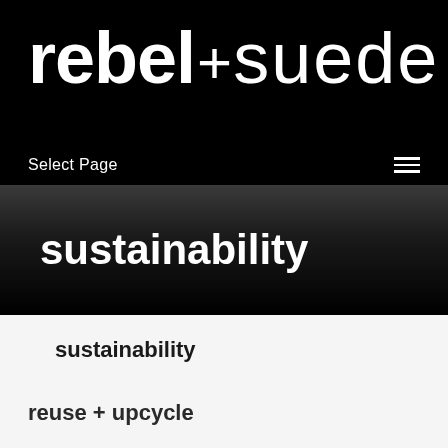rebel+suede
Select Page
sustainability
sustainability
reuse + upcycle